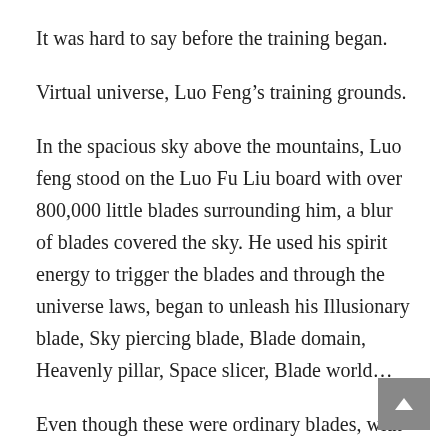It was hard to say before the training began.
Virtual universe, Luo Feng’s training grounds.
In the spacious sky above the mountains, Luo feng stood on the Luo Fu Liu board with over 800,000 little blades surrounding him, a blur of blades covered the sky. He used his spirit energy to trigger the blades and through the universe laws, began to unleash his Illusionary blade, Sky piercing blade, Blade domain, Heavenly pillar, Space slicer, Blade world…
Even though these were ordinary blades, with no law engravings on them.
He could still use his moves.